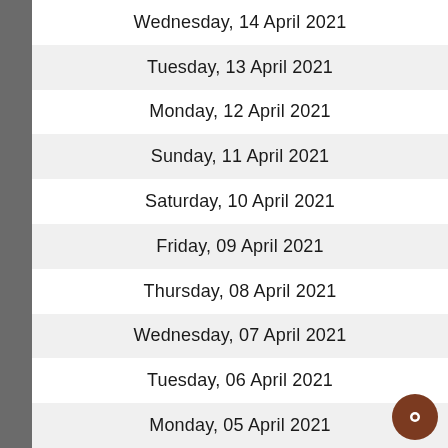Wednesday, 14 April 2021
Tuesday, 13 April 2021
Monday, 12 April 2021
Sunday, 11 April 2021
Saturday, 10 April 2021
Friday, 09 April 2021
Thursday, 08 April 2021
Wednesday, 07 April 2021
Tuesday, 06 April 2021
Monday, 05 April 2021